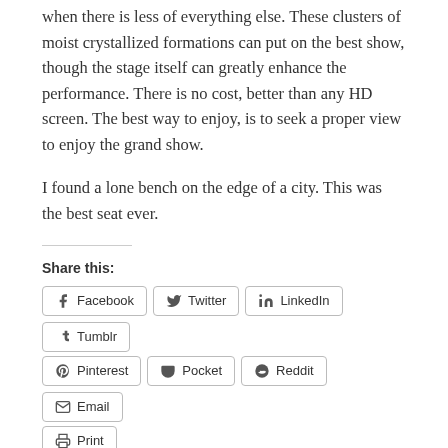when there is less of everything else. These clusters of moist crystallized formations can put on the best show, though the stage itself can greatly enhance the performance. There is no cost, better than any HD screen. The best way to enjoy, is to seek a proper view to enjoy the grand show.

I found a lone bench on the edge of a city. This was the best seat ever.
Share this:
Facebook  Twitter  LinkedIn  Tumblr  Pinterest  Pocket  Reddit  Email  Print
Loading...